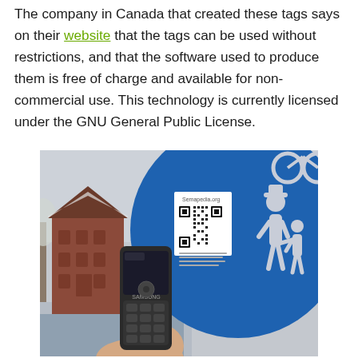The company in Canada that created these tags says on their website that the tags can be used without restrictions, and that the software used to produce them is free of charge and available for non-commercial use. This technology is currently licensed under the GNU General Public License.
[Figure (photo): A hand holding a mobile phone up to a blue circular road sign (shared bicycle and pedestrian path). A white sticker with a QR code and the Semapedia.org logo is visible on the sign. In the background is a snowy scene with a brick building.]